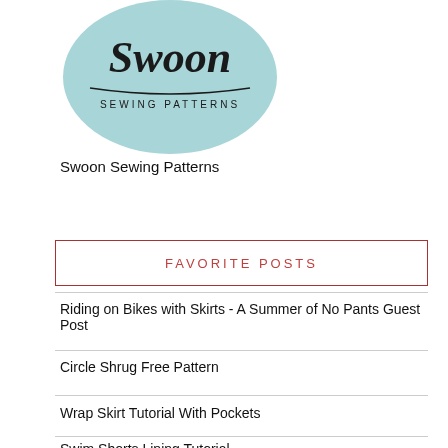[Figure (logo): Swoon Sewing Patterns circular logo with light blue background, script 'Swoon' text and 'SEWING PATTERNS' in small caps]
Swoon Sewing Patterns
FAVORITE POSTS
Riding on Bikes with Skirts - A Summer of No Pants Guest Post
Circle Shrug Free Pattern
Wrap Skirt Tutorial With Pockets
Swim Shorts Lining Tutorial